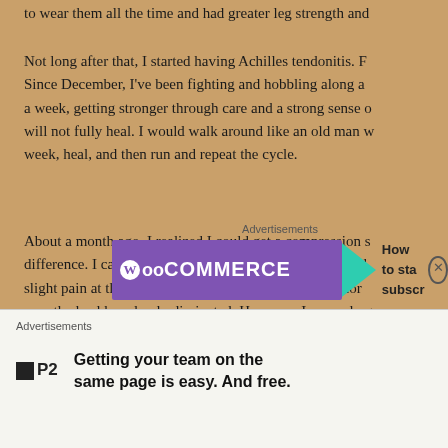to wear them all the time and had greater leg strength and
Not long after that, I started having Achilles tendonitis. F Since December, I've been fighting and hobbling along a a week, getting stronger through care and a strong sense o will not fully heal. I would walk around like an old man w week, heal, and then run and repeat the cycle.
About a month ago, I realized I could get a compression s difference. I can walk around without much any pain and slight pain at the start. It's almost like my Achilles is nor near the heel has slowly dissipated. However, I can only g doesn't feel completely normal. I don't know if I'll ever b without some brace to support my foot.
[Figure (other): WooCommerce advertisement banner with teal arrow and 'How to sta subscr' text and a close button]
[Figure (other): P2 advertisement: 'Getting your team on the same page is easy. And free.' with P2 logo]